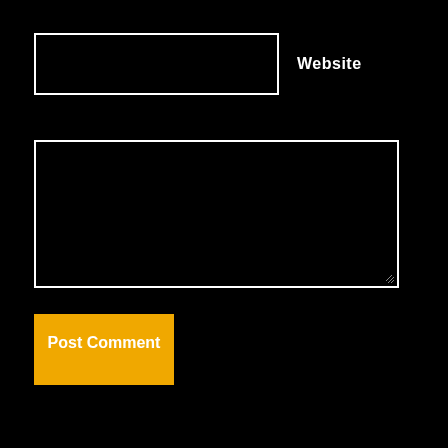Website
Save my name, email, and website in this browser for the next time I comment.
Post Comment